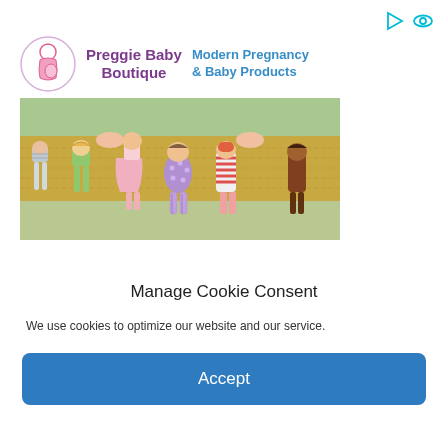[Figure (logo): Two small cyan icons top right: a play/flag icon and an eye icon]
[Figure (illustration): Preggie Baby Boutique advertisement banner. Left: circular logo with pregnant woman silhouette in pink/purple. Center text: 'Preggie Baby Boutique' in purple bold. Right text: 'Modern Pregnancy & Baby Products' in blue. Below: photo of seven handmade fabric dolls laid out on a hay bale, each with different colored outfits.]
Manage Cookie Consent
We use cookies to optimize our website and our service.
Accept